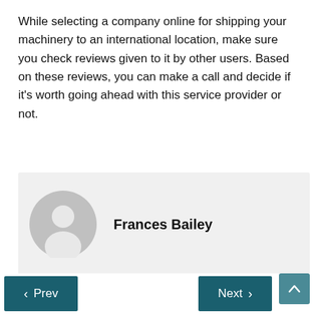While selecting a company online for shipping your machinery to an international location, make sure you check reviews given to it by other users. Based on these reviews, you can make a call and decide if it's worth going ahead with this service provider or not.
[Figure (other): Author profile card with a grey placeholder avatar icon and the name Frances Bailey in bold.]
< Prev    Next >